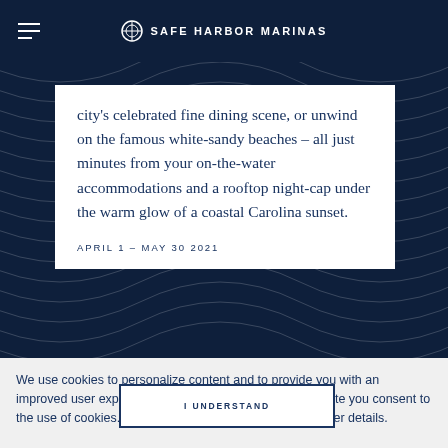SAFE HARBOR MARINAS
city's celebrated fine dining scene, or unwind on the famous white-sandy beaches – all just minutes from your on-the-water accommodations and a rooftop night-cap under the warm glow of a coastal Carolina sunset.
APRIL 1 – MAY 30 2021
We use cookies to personalize content and to provide you with an improved user experience. By continuing to browse this site you consent to the use of cookies. Please visit our privacy policy for further details.
I UNDERSTAND